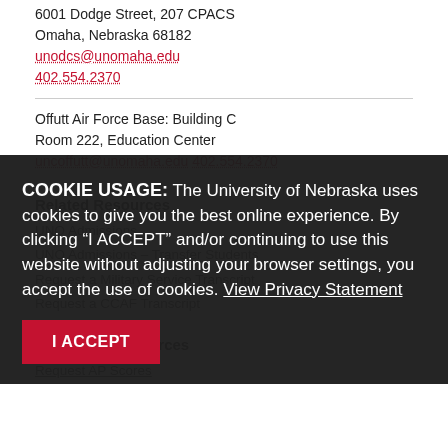6001 Dodge Street, 207 CPACS
Omaha, Nebraska 68182
unodcs@unomaha.edu
402.554.2370
Offutt Air Force Base: Building C
Room 222, Education Center
uncoffutt@unomaha.edu
402.554.2370
Related Resources
UNO Admissions
UNO Admissions – Transfer Students
Request a Military Service Transcript
Request a CCAF Transcript
Additional Resources
Request AP Scores
COOKIE USAGE: The University of Nebraska uses cookies to give you the best online experience. By clicking “I ACCEPT” and/or continuing to use this website without adjusting your browser settings, you accept the use of cookies. View Privacy Statement
I ACCEPT